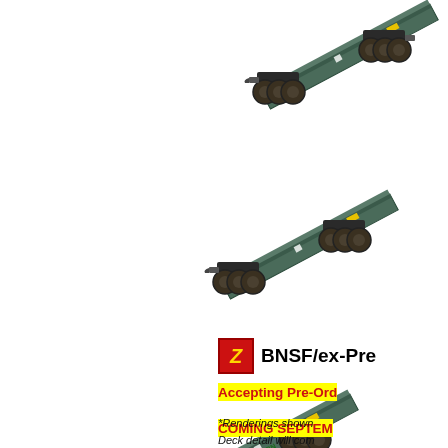[Figure (illustration): Diagonal stacked rendering of BNSF flatcar train cars (ex-Premium intermodal well cars) in green/dark teal color, arranged in a cascading diagonal from top-right to bottom, showing wheel trucks and car bodies. Three or four cars visible in a top-down angled 3D rendering perspective.]
BNSF/ex-Pre
Accepting Pre-Ord
COMING SEPTEM
*Renderings shown
Deck detail will com